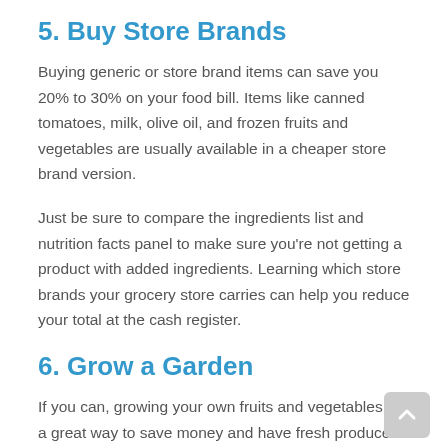5. Buy Store Brands
Buying generic or store brand items can save you 20% to 30% on your food bill. Items like canned tomatoes, milk, olive oil, and frozen fruits and vegetables are usually available in a cheaper store brand version.
Just be sure to compare the ingredients list and nutrition facts panel to make sure you’re not getting a product with added ingredients. Learning which store brands your grocery store carries can help you reduce your total at the cash register.
6. Grow a Garden
If you can, growing your own fruits and vegetables is a great way to save money and have fresh produce at your fingertips. Even if you don’t have a yard to grow a garden, many fruits, vegetables, and herbs can grow in pots on patios or balconies.
Having a constant supply of fresh produce at home can